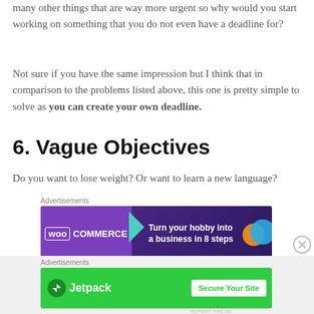many other things that are way more urgent so why would you start working on something that you do not even have a deadline for?
Not sure if you have the same impression but I think that in comparison to the problems listed above, this one is pretty simple to solve as you can create your own deadline.
6. Vague Objectives
Do you want to lose weight? Or want to learn a new language?
Advertisements
[Figure (screenshot): WooCommerce advertisement banner: 'Turn your hobby into a business in 8 steps']
REPORT THIS AD
Advertisements
[Figure (screenshot): Jetpack advertisement banner: 'Secure Your Site']